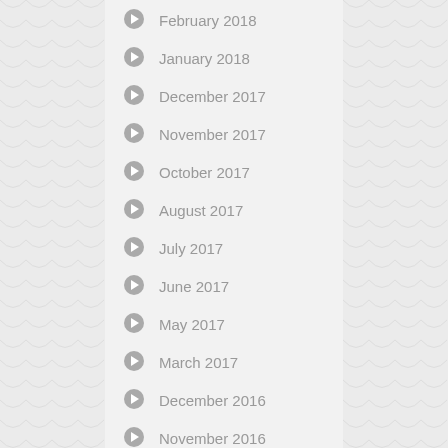February 2018
January 2018
December 2017
November 2017
October 2017
August 2017
July 2017
June 2017
May 2017
March 2017
December 2016
November 2016
October 2016
September 2016
August 2016